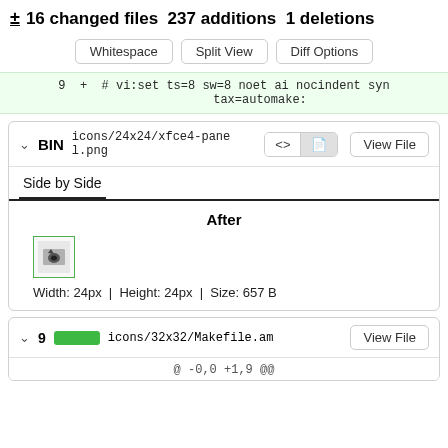± 16 changed files 237 additions 1 deletions
Whitespace | Split View | Diff Options
9  +  # vi:set ts=8 sw=8 noet ai nocindent syntax=automake:
∨ BIN icons/24x24/xfce4-panel.png  <>  □  View File
Side by Side
After
[Figure (illustration): Small image preview of icons/24x24/xfce4-panel.png with a green border]
Width: 24px  |  Height: 24px  |  Size: 657 B
∨ 9  [green bar]  icons/32x32/Makefile.am  View File
@ -0,0 +1,9 @@